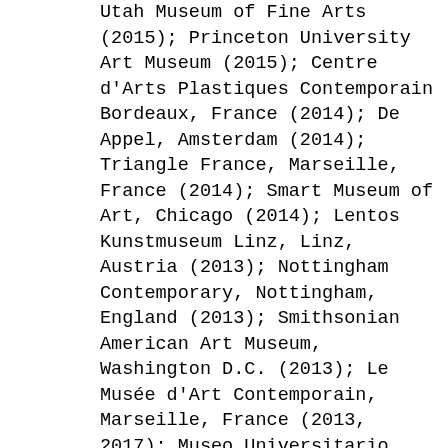Utah Museum of Fine Arts (2015); Princeton University Art Museum (2015); Centre d'Arts Plastiques Contemporain Bordeaux, France (2014); De Appel, Amsterdam (2014); Triangle France, Marseille, France (2014); Smart Museum of Art, Chicago (2014); Lentos Kunstmuseum Linz, Linz, Austria (2013); Nottingham Contemporary, Nottingham, England (2013); Smithsonian American Art Museum, Washington D.C. (2013); Le Musée d'Art Contemporain, Marseille, France (2013, 2017); Museo Universitario Arte Contemporáneo (UNAM), Mexico City (2013); Tate Liverpool, Liverpool, England (2013); The Bronx Museum of the Arts, Bronx, New York (2013); UC Berkeley Art Museum and Pacific Rim Film Archive (2012); Museo del Palacio de Bellas Artes, Mexico City (2011, 1981); Museum of Contemporary Art, Los Angeles (2011, 2010); Musée de l'Élysée, Lausanne, Switzerland (2009); Orange County Museum of Art, Newport Beach, CA (2011); Whitworth Art Gallery, Manchester, England (2009); Museo de Arte